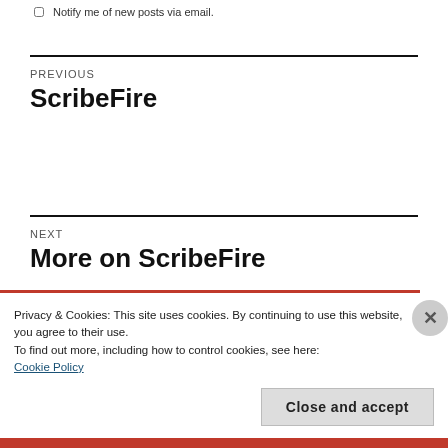Notify me of new posts via email.
PREVIOUS
ScribeFire
NEXT
More on ScribeFire
Privacy & Cookies: This site uses cookies. By continuing to use this website, you agree to their use.
To find out more, including how to control cookies, see here:
Cookie Policy
Close and accept